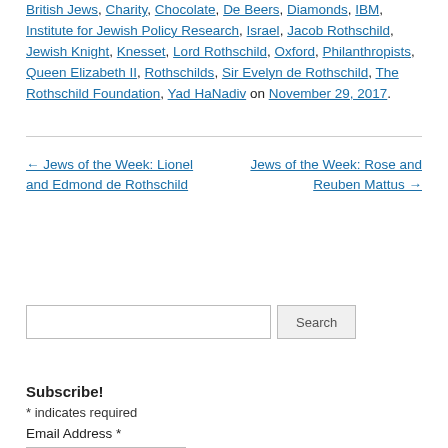British Jews, Charity, Chocolate, De Beers, Diamonds, IBM, Institute for Jewish Policy Research, Israel, Jacob Rothschild, Jewish Knight, Knesset, Lord Rothschild, Oxford, Philanthropists, Queen Elizabeth II, Rothschilds, Sir Evelyn de Rothschild, The Rothschild Foundation, Yad HaNadiv on November 29, 2017.
← Jews of the Week: Lionel and Edmond de Rothschild
Jews of the Week: Rose and Reuben Mattus →
Search
Subscribe!
* indicates required
Email Address *